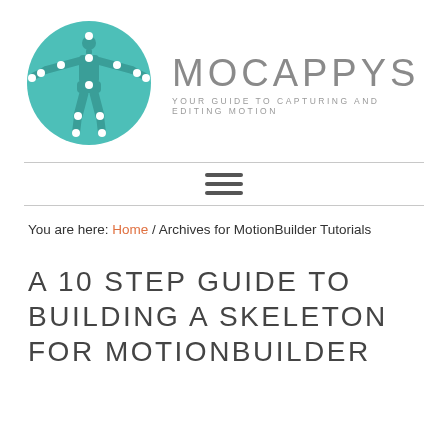[Figure (logo): Mocappys logo: teal circle with motion-capture skeleton figure silhouette with white joint dots, arms outstretched in T-pose]
MOCAPPYS
YOUR GUIDE TO CAPTURING AND EDITING MOTION
[Figure (other): Hamburger menu icon: three horizontal dark gray bars]
You are here: Home / Archives for MotionBuilder Tutorials
A 10 STEP GUIDE TO BUILDING A SKELETON FOR MOTIONBUILDER